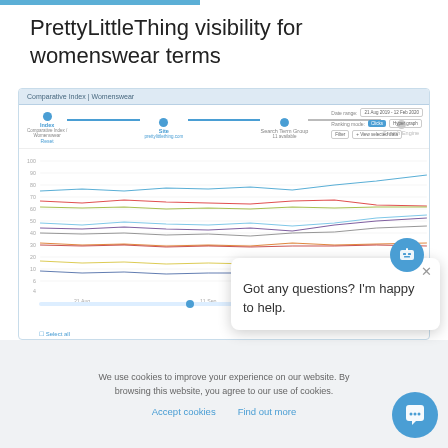PrettyLittleThing visibility for womenswear terms
[Figure (screenshot): Screenshot of a comparative index tool showing 'Comparative Index | Womenswear' with a multi-line chart tracking PrettyLittleThing.com visibility for womenswear search terms over the date range 21 Aug 2019 - 12 Feb 2020. Multiple colored lines (blue, red, green, light blue, dark blue, orange, yellow) show various metrics fluctuating over time. Navigation steps: Index, Site (prettylittlething.com), Search Term Group (11 available), Search Engine. Settings show date range and ranking mode options.]
Got any questions? I'm happy to help.
We use cookies to improve your experience on our website. By browsing this website, you agree to our use of cookies.
Accept cookies   Find out more